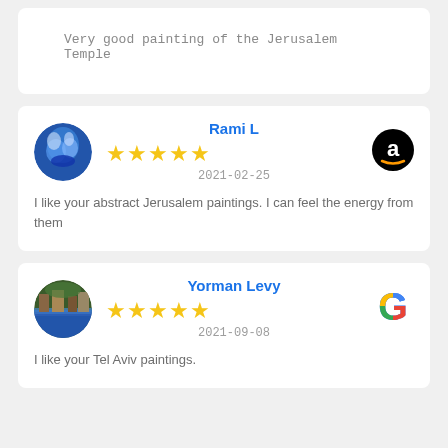Very good painting of the Jerusalem Temple
Rami L
2021-02-25
I like your abstract Jerusalem paintings. I can feel the energy from them
Yorman Levy
2021-09-08
I like your Tel Aviv paintings.